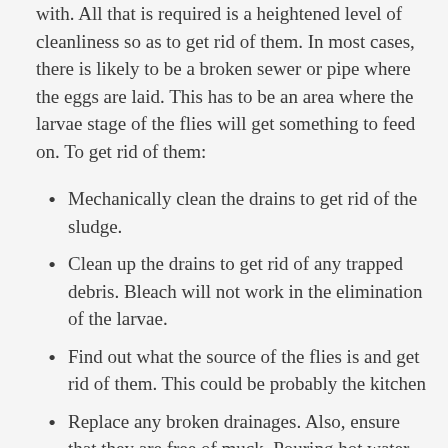with. All that is required is a heightened level of cleanliness so as to get rid of them. In most cases, there is likely to be a broken sewer or pipe where the eggs are laid. This has to be an area where the larvae stage of the flies will get something to feed on. To get rid of them:
Mechanically clean the drains to get rid of the sludge.
Clean up the drains to get rid of any trapped debris. Bleach will not work in the elimination of the larvae.
Find out what the source of the flies is and get rid of them. This could be probably the kitchen
Replace any broken drainages. Also, ensure that they are free of muck. Pouring hot water down them can help